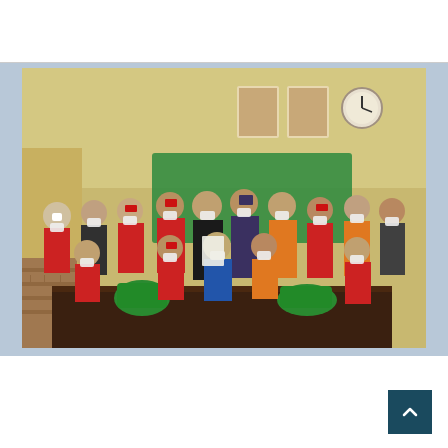[Figure (photo): Group photo of approximately 20 people wearing red t-shirts and caps, safety vests, and face masks, gathered in an indoor meeting room. Some individuals in formal attire stand at center. Green bags are visible on a dark table in the foreground. Framed portraits and a clock hang on the wall behind the group. A green banner is partially visible in the background.]
HEALTH   NEWS
Bauchi State detects and treats over four thousand TB patients